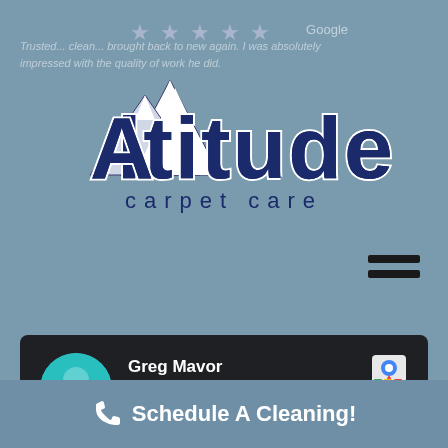[Figure (logo): Altitude Carpet Care logo with mountain peaks graphic and stylized text]
Trusted... clean...brought back to new again. I was absolutely impressed with the quality of work he did.
[Figure (screenshot): Google Maps icon in top right of review card]
Greg Mavor
★★★★★
February 12, 2021 via Google
Chris was super professional, timely and reasonably priced. Carpets came out looking great.
Schedule A Cleaning!